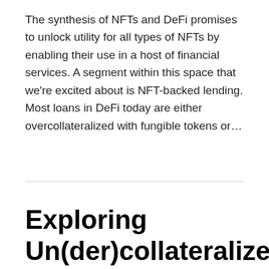The synthesis of NFTs and DeFi promises to unlock utility for all types of NFTs by enabling their use in a host of financial services. A segment within this space that we're excited about is NFT-backed lending. Most loans in DeFi today are either overcollateralized with fungible tokens or…
Exploring Un(der)collateralized